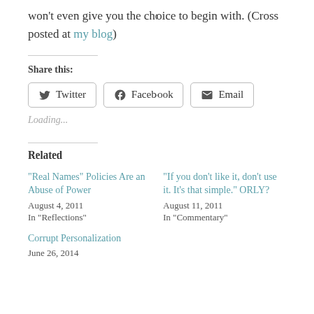won't even give you the choice to begin with. (Cross posted at my blog)
Share this:
Loading...
Related
"Real Names" Policies Are an Abuse of Power
August 4, 2011
In "Reflections"
"If you don't like it, don't use it. It's that simple." ORLY?
August 11, 2011
In "Commentary"
Corrupt Personalization
June 26, 2014